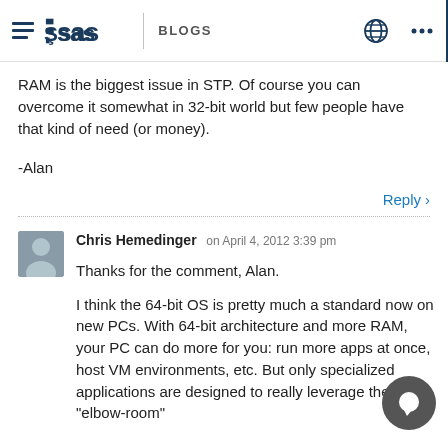SAS BLOGS
RAM is the biggest issue in STP. Of course you can overcome it somewhat in 32-bit world but few people have that kind of need (or money).

-Alan
Reply
Chris Hemedinger on April 4, 2012 3:39 pm
Thanks for the comment, Alan.

I think the 64-bit OS is pretty much a standard now on new PCs. With 64-bit architecture and more RAM, your PC can do more for you: run more apps at once, host VM environments, etc. But only specialized applications are designed to really leverage the "elbow-room"